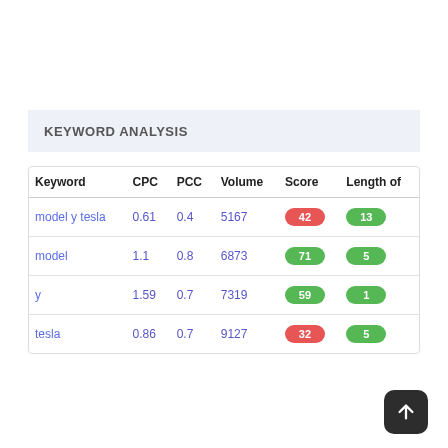KEYWORD ANALYSIS
| Keyword | CPC | PCC | Volume | Score | Length of |
| --- | --- | --- | --- | --- | --- |
| model y tesla | 0.61 | 0.4 | 5167 | 42 | 13 |
| model | 1.1 | 0.8 | 6873 | 71 | 5 |
| y | 1.59 | 0.7 | 7319 | 59 | 1 |
| tesla | 0.86 | 0.7 | 9127 | 32 | 5 |